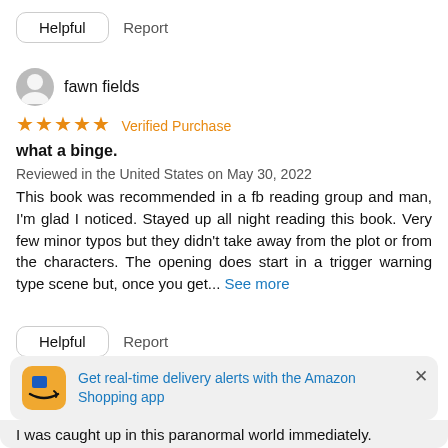Helpful   Report
fawn fields
★★★★★ Verified Purchase
what a binge.
Reviewed in the United States on May 30, 2022
This book was recommended in a fb reading group and man, I'm glad I noticed. Stayed up all night reading this book. Very few minor typos but they didn't take away from the plot or from the characters. The opening does start in a trigger warning type scene but, once you get... See more
Helpful   Report
Get real-time delivery alerts with the Amazon Shopping app
I was caught up in this paranormal world immediately.